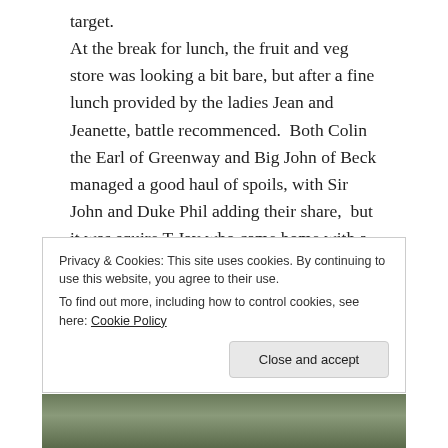target.
At the break for lunch, the fruit and veg store was looking a bit bare, but after a fine lunch provided by the ladies Jean and Jeanette, battle recommenced.  Both Colin the Earl of Greenway and Big John of Beck managed a good haul of spoils, with Sir John and Duke Phil adding their share,  but it was squire T Jay who came home with a trophy for finishing in second place.
The day finished, as usual with an Agincourt volley.  Big John of Beck claimed to have hit one of the ‘Frenchies’ but as no blood was found on his arrow as proof he was awarded a bag of veg.
Privacy & Cookies: This site uses cookies. By continuing to use this website, you agree to their use.
To find out more, including how to control cookies, see here: Cookie Policy
Close and accept
[Figure (photo): Partial photo strip visible at bottom of page showing outdoor/landscape scene]